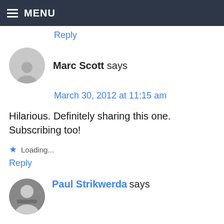MENU
Reply
Marc Scott says
March 30, 2012 at 11:15 am
Hilarious. Definitely sharing this one. Subscribing too!
Loading...
Reply
Paul Strikwerda says